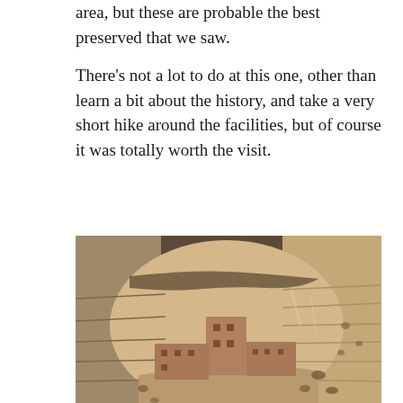area, but these are probable the best preserved that we saw.
There’s not a lot to do at this one, other than learn a bit about the history, and take a very short hike around the facilities, but of course it was totally worth the visit.
[Figure (photo): Photograph of ancient cliff dwellings built into a large natural sandstone alcove. Multi-story adobe/mud brick structures are nestled under the overhanging rock. The surrounding rock face shows layered sedimentary formations with holes and recesses. Sky is visible at the top.]